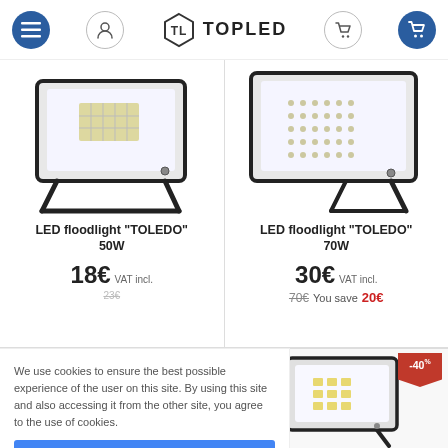TOPLED
[Figure (photo): LED floodlight TOLEDO 50W product image]
LED floodlight "TOLEDO" 50W
18€ VAT incl.
[Figure (photo): LED floodlight TOLEDO 70W product image]
LED floodlight "TOLEDO" 70W
30€ VAT incl. 70€ You save 20€
We use cookies to ensure the best possible experience of the user on this site. By using this site and also accessing it from the other site, you agree to the use of cookies.
I agree
[Figure (photo): LED floodlight product image with -40% discount badge]